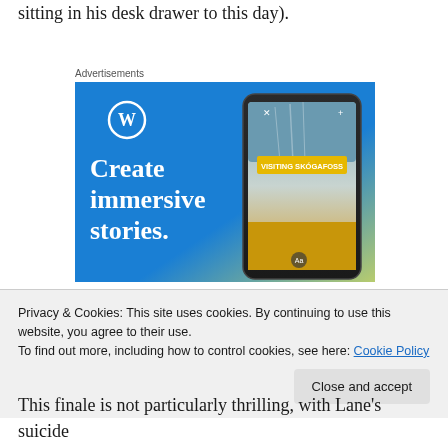sitting in his desk drawer to this day).
[Figure (screenshot): WordPress advertisement banner showing 'Create immersive stories.' text on a blue gradient background with a phone displaying 'VISITING SKÓGAFOSS' waterfall scene]
Privacy & Cookies: This site uses cookies. By continuing to use this website, you agree to their use.
To find out more, including how to control cookies, see here: Cookie Policy
This finale is not particularly thrilling, with Lane's suicide